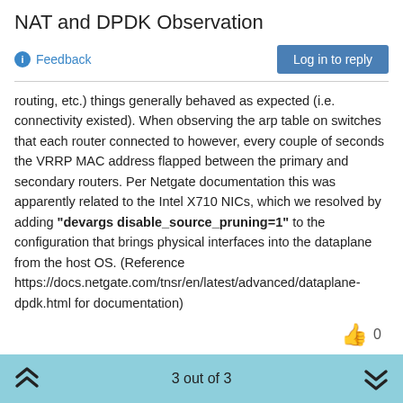NAT and DPDK Observation
Feedback
Log in to reply
routing, etc.) things generally behaved as expected (i.e. connectivity existed). When observing the arp table on switches that each router connected to however, every couple of seconds the VRRP MAC address flapped between the primary and secondary routers. Per Netgate documentation this was apparently related to the Intel X710 NICs, which we resolved by adding "devargs disable_source_pruning=1" to the configuration that brings physical interfaces into the dataplane from the host OS. (Reference https://docs.netgate.com/tnsr/en/latest/advanced/dataplane-dpdk.html for documentation)
👍 0
3 out of 3